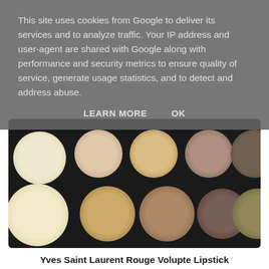This site uses cookies from Google to deliver its services and to analyze traffic. Your IP address and user-agent are shared with Google along with performance and security metrics to ensure quality of service, generate usage statistics, and to detect and address abuse.
LEARN MORE   OK
[Figure (photo): A close-up photo of a makeup eyeshadow palette with multiple circular pans in neutral/beige/nude shades arranged in a dark tray, including cream, gold, taupe, brown, and olive tones.]
Yves Saint Laurent Rouge Volupte Lipstick
Who else has been longing for a YSL lipstick for the longest time? My favourite shade would be one of the beige/nudes, although, I couldn't find a clear enough image of one so here is a photo of a different shade, which is also really pretty! Not only do they have gorgeous packaging but are also said to leave an